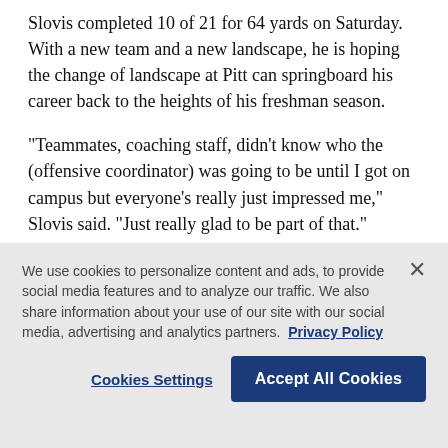Slovis completed 10 of 21 for 64 yards on Saturday. With a new team and a new landscape, he is hoping the change of landscape at Pitt can springboard his career back to the heights of his freshman season.
“Teammates, coaching staff, didn’t know who the (offensive coordinator) was going to be until I got on campus but everyone’s really just impressed me,” Slovis said. “Just really glad to be part of that.”
Running the show for the Pitt offense is now Frank
We use cookies to personalize content and ads, to provide social media features and to analyze our traffic. We also share information about your use of our site with our social media, advertising and analytics partners. Privacy Policy
Cookies Settings
Accept All Cookies